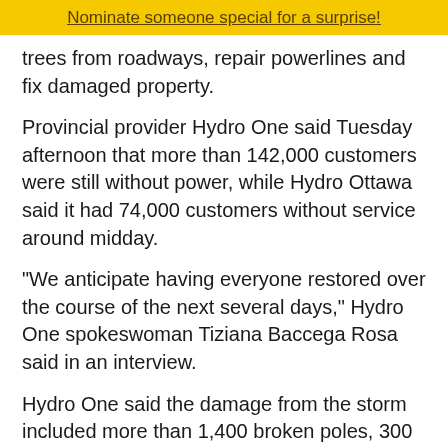Nominate someone special for a surprise!
trees from roadways, repair powerlines and fix damaged property.
Provincial provider Hydro One said Tuesday afternoon that more than 142,000 customers were still without power, while Hydro Ottawa said it had 74,000 customers without service around midday.
"We anticipate having everyone restored over the course of the next several days," Hydro One spokeswoman Tiziana Baccega Rosa said in an interview.
Hydro One said the damage from the storm included more than 1,400 broken poles, 300 broken crossarms and nearly 200 damaged transformers as well as "countless trees."